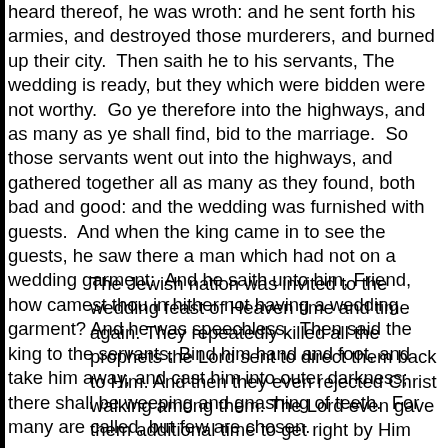heard thereof, he was wroth: and he sent forth his armies, and destroyed those murderers, and burned up their city.  Then saith he to his servants, The wedding is ready, but they which were bidden were not worthy.  Go ye therefore into the highways, and as many as ye shall find, bid to the marriage.  So those servants went out into the highways, and gathered together all as many as they found, both bad and good: and the wedding was furnished with guests.  And when the king came in to see the guests, he saw there a man which had not on a wedding garment:  And he saith unto him, Friend, how camest thou in hither not having a wedding garment? And he was speechless.  Then said the king to the servants, Bind him hand and foot, and take him away, and cast him into outer darkness; there shall be weeping and gnashing of teeth.  For many are called, but few are chosen.
The Jewish nation was invited to the wedding feast of Heaven time and time again. They repeatedly killed all the prophets the Lord sent to direct them back to Him. And then they even rejected Christ walking among them. The Lord even gave them additional time to get right by Him after they He was crucified. Still, they continued on in their rejection of Him. So, He had to do as